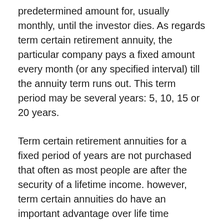predetermined amount for, usually monthly, until the investor dies. As regards term certain retirement annuity, the particular company pays a fixed amount every month (or any specified interval) till the annuity term runs out. This term period may be several years: 5, 10, 15 or 20 years.
Term certain retirement annuities for a fixed period of years are not purchased that often as most people are after the security of a lifetime income. however, term certain annuities do have an important advantage over life time annuities. If the annuitant passes away before the end of the term, then the beneficiary continues to receive the payments through the end of the term.
In the case of a life retirement annuity, the size of the monthly payments is based on the annuitant's expected